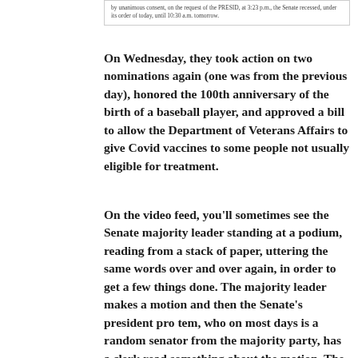by unanimous consent, on the request of the PRESID, at 3:23 p.m., the Senate recessed, under its order of today, until 10:30 a.m. tomorrow.
On Wednesday, they took action on two nominations again (one was from the previous day), honored the 100th anniversary of the birth of a baseball player, and approved a bill to allow the Department of Veterans Affairs to give Covid vaccines to some people not usually eligible for treatment.
On the video feed, you’ll sometimes see the Senate majority leader standing at a podium, reading from a stack of paper, uttering the same words over and over again, in order to get a few things done. The majority leader makes a motion and then the Senate’s president pro tem, who on most days is a random senator from the majority party, has a clerk read something about the motion. The president pro tem then asks for a roll call vote. The majority leader, apparently the only other senator in the room, says “aye”, the president pro tem says it appears the ayes have it, and announces that the motion is agreed to.